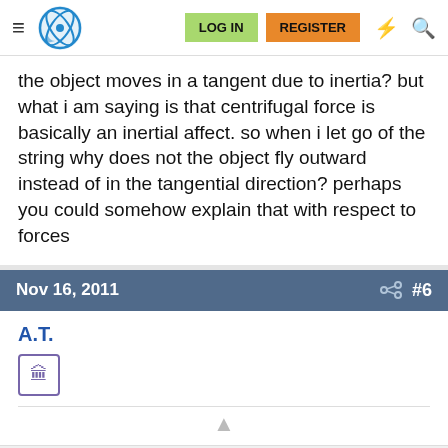LOG IN  REGISTER
the object moves in a tangent due to inertia? but what i am saying is that centrifugal force is basically an inertial affect. so when i let go of the string why does not the object fly outward instead of in the tangential direction? perhaps you could somehow explain that with respect to forces
Nov 16, 2011  #6
A.T.